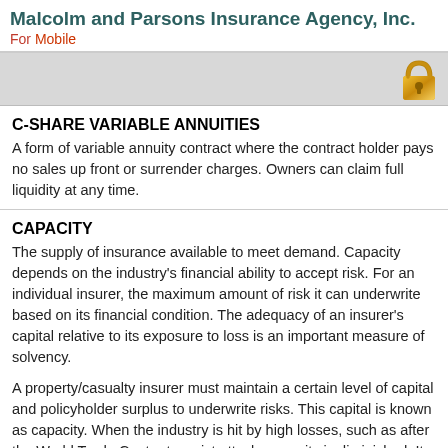Malcolm and Parsons Insurance Agency, Inc.
For Mobile
[Figure (illustration): Gray toolbar bar with a gold padlock icon in the upper right corner]
C-SHARE VARIABLE ANNUITIES
A form of variable annuity contract where the contract holder pays no sales up front or surrender charges. Owners can claim full liquidity at any time.
CAPACITY
The supply of insurance available to meet demand. Capacity depends on the industry's financial ability to accept risk. For an individual insurer, the maximum amount of risk it can underwrite based on its financial condition. The adequacy of an insurer's capital relative to its exposure to loss is an important measure of solvency.
A property/casualty insurer must maintain a certain level of capital and policyholder surplus to underwrite risks. This capital is known as capacity. When the industry is hit by high losses, such as after the World Trade Center terrorist attack, capacity is diminished. It can be restored by increases in net income, favorable investment returns, reinsuring more risk and or raising additional capital. When there is excess capacity, usually because of a high return on investments, premiums tend to decline as insurers compete for market share. As premiums decline, underwriting losses are likely to grow, reducing capacity and causing insurers to raise rates and tighten conditions and limits in an effort to increase profitability. Policyholder surplus is